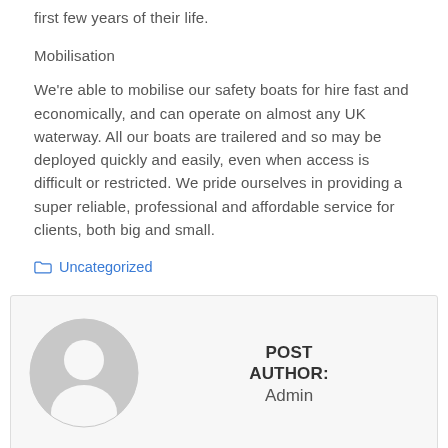first few years of their life.
Mobilisation
We're able to mobilise our safety boats for hire fast and economically, and can operate on almost any UK waterway. All our boats are trailered and so may be deployed quickly and easily, even when access is difficult or restricted. We pride ourselves in providing a super reliable, professional and affordable service for clients, both big and small.
Uncategorized
[Figure (illustration): Generic user avatar icon — silhouette of a person in a circle, grey tones]
POST AUTHOR: Admin